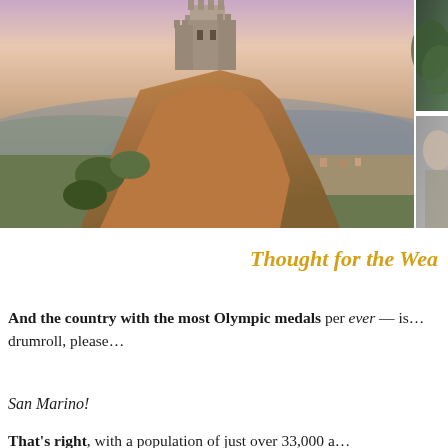[Figure (photo): A medieval castle/fortress perched dramatically on a rocky cliff in San Marino at sunset, with a panoramic view of a city below and rolling hills in the background under a pink and blue sky.]
Thought for the Wee…
And the country with the most Olympic medals per… ever — is…drumroll, please…
San Marino!
That's right, with a population of just over 33,000 a…